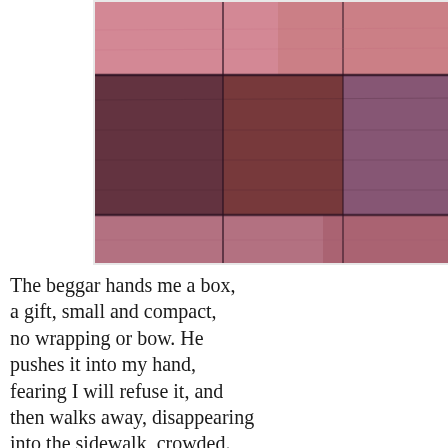[Figure (illustration): An abstract textile or painted artwork with a plaid or grid-like pattern featuring muted pinks, deep purples, mauves, and dark maroon tones. The image has a fabric-like texture with overlapping rectangular color blocks.]
The beggar hands me a box, a gift, small and compact, no wrapping or bow. He pushes it into my hand, fearing I will refuse it, and then walks away, disappearing into the sidewalk, crowded. I look for him but he was gone.